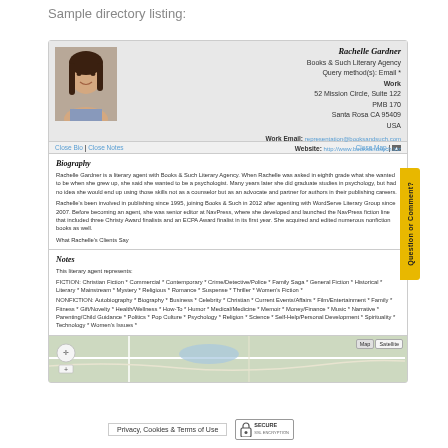Sample directory listing:
[Figure (screenshot): Sample directory listing for Rachelle Gardner, literary agent at Books & Such Literary Agency. Shows photo, contact info, biography, notes on genres represented, and a map section. Includes a 'Question or Comment?' sidebar tab and bottom privacy/security bar.]
Rachelle Gardner
Books & Such Literary Agency
Query method(s): Email *
Work
52 Mission Circle, Suite 122
PMB 170
Santa Rosa CA 95409
USA
Work Email: representation@booksandsuch.com
Website: http://www.booksandsuch.biz
Close Bio | Close Notes	Close Map | ▲
Biography
Rachelle Gardner is a literary agent with Books & Such Literary Agency. When Rachelle was asked in eighth grade what she wanted to be when she grew up, she said she wanted to be a psychologist. Many years later she did graduate studies in psychology, but had no idea she would end up using those skills not as a counselor but as an advocate and partner for authors in their publishing careers.
Rachelle's been involved in publishing since 1995, joining Books & Such in 2012 after agenting with WordServe Literary Group since 2007. Before becoming an agent, she was senior editor at NavPress, where she developed and launched the NavPress fiction line that included three Christy Award finalists and an ECPA Award finalist in its first year. She acquired and edited numerous nonfiction books as well.
What Rachelle's Clients Say
Notes
This literary agent represents:
FICTION: Christian Fiction * Commercial * Contemporary * Crime/Detective/Police * Family Saga * General Fiction * Historical * Literary * Mainstream * Mystery * Religious * Romance * Suspense * Thriller * Women's Fiction *
NONFICTION: Autobiography * Biography * Business * Celebrity * Christian * Current Events/Affairs * Film/Entertainment * Family * Fitness * Gift/Novelty * Health/Wellness * How-To * Humor * Medical/Medicine * Memoir * Money/Finance * Music * Narrative * Parenting/Child Guidance * Politics * Pop Culture * Psychology * Religion * Science * Self-Help/Personal Development * Spirituality * Technology * Women's Issues *
Privacy, Cookies & Terms of Use
SECURE
SSL ENCRYPTION